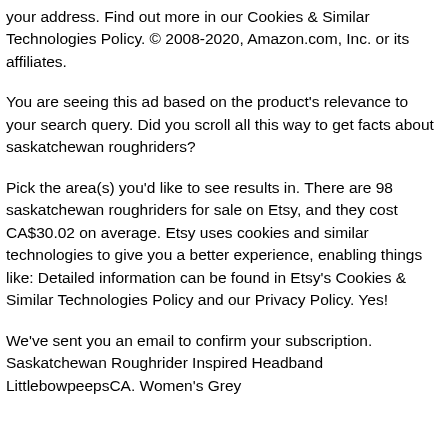your address. Find out more in our Cookies & Similar Technologies Policy. © 2008-2020, Amazon.com, Inc. or its affiliates.
You are seeing this ad based on the product's relevance to your search query. Did you scroll all this way to get facts about saskatchewan roughriders?
Pick the area(s) you'd like to see results in. There are 98 saskatchewan roughriders for sale on Etsy, and they cost CA$30.02 on average. Etsy uses cookies and similar technologies to give you a better experience, enabling things like: Detailed information can be found in Etsy's Cookies & Similar Technologies Policy and our Privacy Policy. Yes!
We've sent you an email to confirm your subscription. Saskatchewan Roughrider Inspired Headband LittlebowpeepsCA. Women's Grey